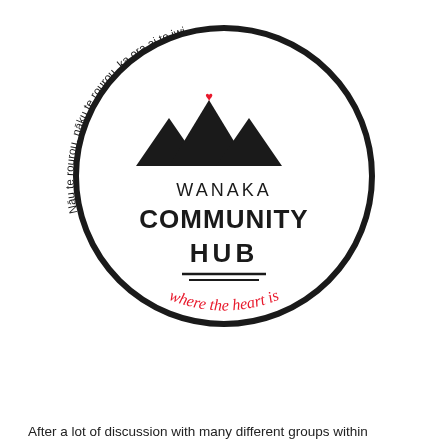[Figure (logo): Wanaka Community Hub circular logo with mountain peaks icon, text 'WANAKA COMMUNITY HUB', red cursive 'where the heart is', and Māori text 'Nāu te rourou, nāku te rourou, ka ora ai te iwi' arching around the circle.]
After a lot of discussion with many different groups within